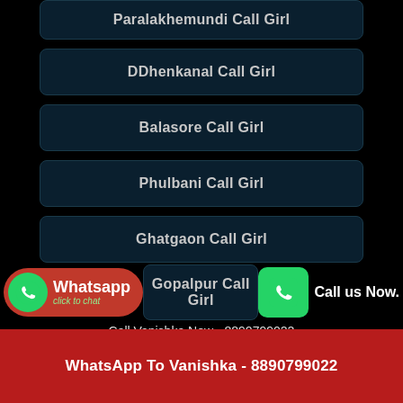Paralakhemundi Call Girl
DDhenkanal Call Girl
Balasore Call Girl
Phulbani Call Girl
Ghatgaon Call Girl
Bargarh Call Girl
Belpahar Call Girl
Gopalpur Call Girl
Whatsapp click to chat
Call us Now.
Call Vanishka Now - 8890799022
WhatsApp To Vanishka - 8890799022